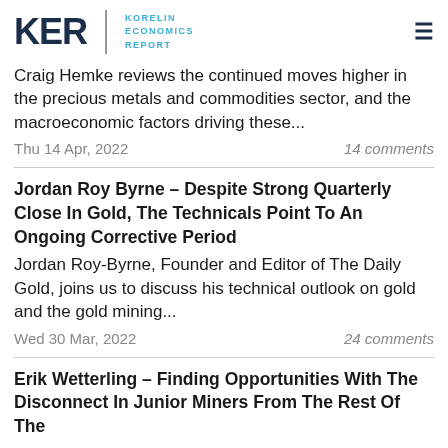KER | KORELIN ECONOMICS REPORT
Craig Hemke reviews the continued moves higher in the precious metals and commodities sector, and the macroeconomic factors driving these...
Thu 14 Apr, 2022    14 comments
Jordan Roy Byrne – Despite Strong Quarterly Close In Gold, The Technicals Point To An Ongoing Corrective Period
Jordan Roy-Byrne, Founder and Editor of The Daily Gold, joins us to discuss his technical outlook on gold and the gold mining...
Wed 30 Mar, 2022    24 comments
Erik Wetterling – Finding Opportunities With The Disconnect In Junior Miners From The Rest Of The